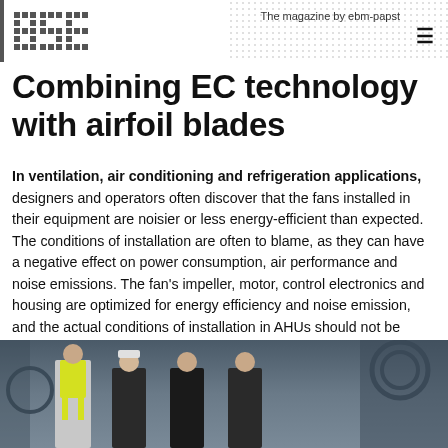The magazine by ebm-papst
Combining EC technology with airfoil blades
In ventilation, air conditioning and refrigeration applications, designers and operators often discover that the fans installed in their equipment are noisier or less energy-efficient than expected. The conditions of installation are often to blame, as they can have a negative effect on power consumption, air performance and noise emissions. The fan's impeller, motor, control electronics and housing are optimized for energy efficiency and noise emission, and the actual conditions of installation in AHUs should not be neglected.
[Figure (photo): Group photo of four people standing in front of industrial equipment, one wearing a high-visibility yellow vest, others in dark jackets with company logos]